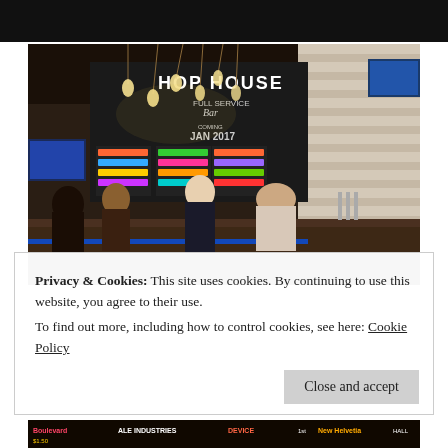[Figure (photo): Top portion of a webpage showing a dark/black strip at the top, likely the top edge of a bar/restaurant interior photo being cut off.]
[Figure (photo): Interior of a craft beer bar called 'Hop House' with chalkboard menu on the wall listing beers, Edison bulb lighting, white brick walls, bar patrons and staff visible, TV screens mounted on walls, blue LED accent lighting under the bar counter.]
Privacy & Cookies: This site uses cookies. By continuing to use this website, you agree to their use.
To find out more, including how to control cookies, see here: Cookie Policy
Close and accept
[Figure (photo): Bottom strip of a beer menu/chalkboard showing beer names and prices including Boulevard, Ale Industries, Device, New Helvetia and others with colorful chalk lettering.]